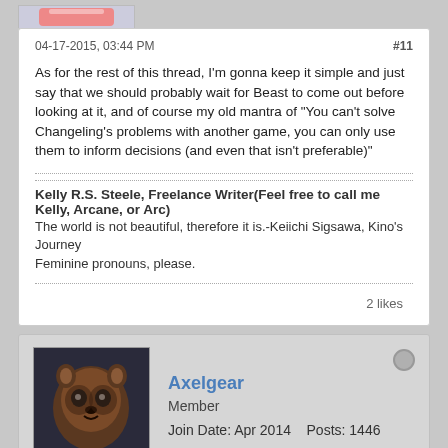04-17-2015, 03:44 PM
#11
As for the rest of this thread, I'm gonna keep it simple and just say that we should probably wait for Beast to come out before looking at it, and of course my old mantra of "You can't solve Changeling's problems with another game, you can only use them to inform decisions (and even that isn't preferable)"
Kelly R.S. Steele, Freelance Writer(Feel free to call me Kelly, Arcane, or Arc)
The world is not beautiful, therefore it is.-Keiichi Sigsawa, Kino's Journey
Feminine pronouns, please.
2 likes
Axelgear
Member
Join Date: Apr 2014    Posts: 1446